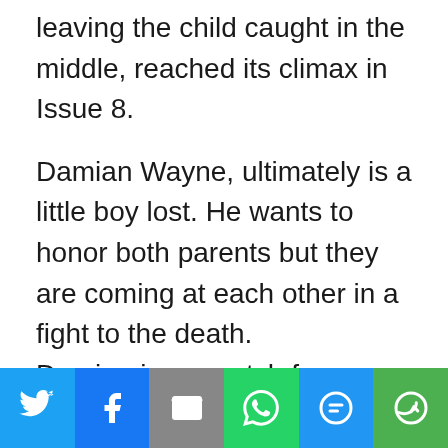leaving the child caught in the middle, reached its climax in Issue 8.
Damian Wayne, ultimately is a little boy lost. He wants to honor both parents but they are coming at each other in a fight to the death.
Damian is no match for
[Figure (infographic): Social sharing bar with Twitter, Facebook, Email, WhatsApp, SMS, and More buttons]